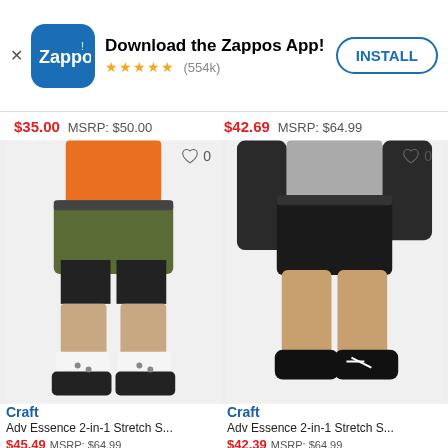[Figure (screenshot): Zappos app install banner with logo, 5-star rating (554k), and INSTALL button]
$35.00  MSRP: $50.00    $42.69  MSRP: $64.99
[Figure (photo): Man wearing olive green Craft Adv Essence 2-in-1 Stretch Shorts with orange shirt and white socks]
[Figure (photo): Person wearing black Craft Adv Essence 2-in-1 Stretch Shorts with black jacket and black sneakers]
Craft
Adv Essence 2-in-1 Stretch S...
$45.49  MSRP: $64.99
Craft
Adv Essence 2-in-1 Stretch S...
$42.39  MSRP: $64.99